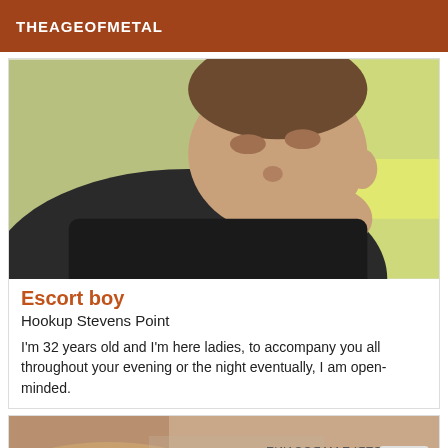THEAGEOFMETAL
[Figure (photo): A man taking a selfie leaning sideways, wearing a dark shirt, with a bright yellow-green background visible through a window.]
Escort boy
Hookup Stevens Point
I'm 32 years old and I'm here ladies, to accompany you all throughout your evening or the night eventually, I am open-minded.
[Figure (photo): A partially visible torso photo with reversed text overlay reading 'PERLE MAROCAINE' and '06 41 18 08 25' and a colorful logo in the bottom right corner.]